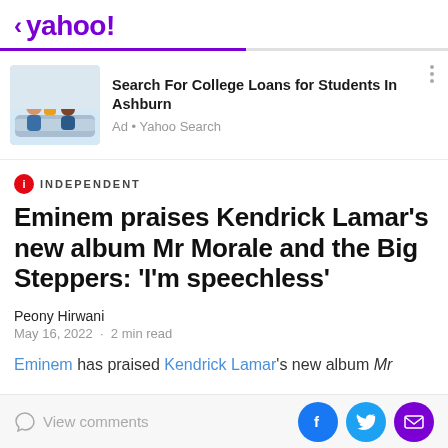< yahoo!
[Figure (screenshot): Advertisement banner with photo of family (adult and child smiling), text: Search For College Loans for Students In Ashburn. Ad • Yahoo Search]
Eminem praises Kendrick Lamar's new album Mr Morale and the Big Steppers: 'I'm speechless'
Peony Hirwani
May 16, 2022 · 2 min read
Eminem has praised Kendrick Lamar's new album Mr
View comments